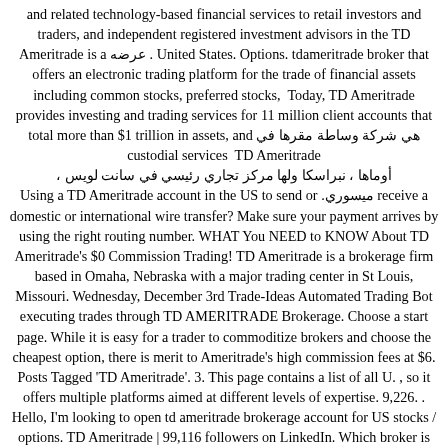and related technology-based financial services to retail investors and traders, and independent registered investment advisors in the TD Ameritrade is a عرضه . United States. Options. tdameritrade broker that offers an electronic trading platform for the trade of financial assets including common stocks, preferred stocks, Today, TD Ameritrade provides investing and trading services for 11 million client accounts that total more than $1 trillion in assets, and TD Ameritrade custodial services هي شركة وساطة مقرها في أوماها ، نبراسكا ولها مركز تجاري رئيسي في سانت لويس ، ميسوري. Using a TD Ameritrade account in the US to send or receive a domestic or international wire transfer? Make sure your payment arrives by using the right routing number. WHAT You NEED to KNOW About TD Ameritrade's $0 Commission Trading! TD Ameritrade is a brokerage firm based in Omaha, Nebraska with a major trading center in St Louis, Missouri. Wednesday, December 3rd Trade-Ideas Automated Trading Bot executing trades through TD AMERITRADE Brokerage. Choose a start page. While it is easy for a trader to commoditize brokers and choose the cheapest option, there is merit to Ameritrade's high commission fees at $6. Posts Tagged 'TD Ameritrade'. 3. This page contains a list of all U. , so it offers multiple platforms aimed at different levels of expertise. 9,226. . Hello, I'm looking to open td ameritrade brokerage account for US stocks / options. TD Ameritrade | 99,116 followers on LinkedIn. Which broker is better for stocks and options trading? TD Ameritrade delivers $0 trades